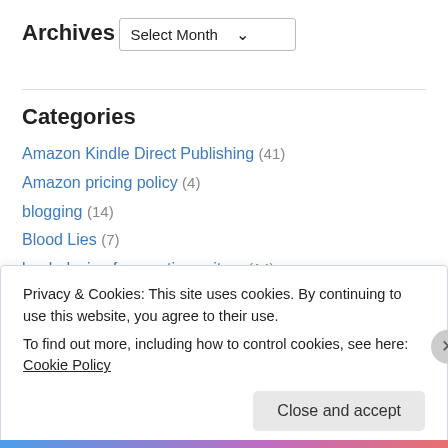Archives
Select Month
Categories
Amazon Kindle Direct Publishing (41)
Amazon pricing policy (4)
blogging (14)
Blood Lies (7)
book design for creative writers (14)
business of writing (128)
College writing (10)
Privacy & Cookies: This site uses cookies. By continuing to use this website, you agree to their use.
To find out more, including how to control cookies, see here: Cookie Policy
Close and accept